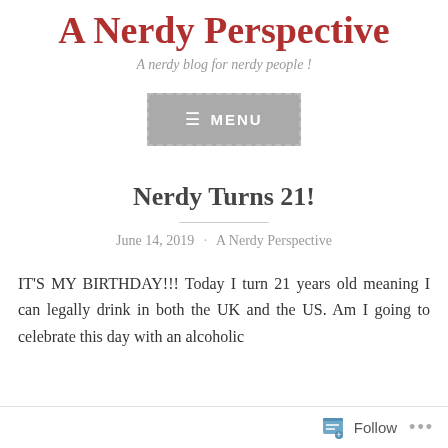A Nerdy Perspective
A nerdy blog for nerdy people!
[Figure (other): Menu button with hamburger icon and text MENU, grey background with dashed border]
Nerdy Turns 21!
June 14, 2019 · A Nerdy Perspective
IT'S MY BIRTHDAY!!! Today I turn 21 years old meaning I can legally drink in both the UK and the US. Am I going to celebrate this day with an alcoholic
Follow ...